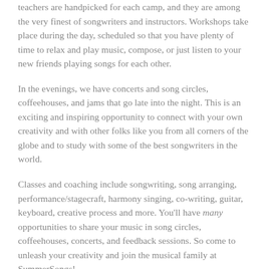teachers are handpicked for each camp, and they are among the very finest of songwriters and instructors. Workshops take place during the day, scheduled so that you have plenty of time to relax and play music, compose, or just listen to your new friends playing songs for each other.
In the evenings, we have concerts and song circles, coffeehouses, and jams that go late into the night. This is an exciting and inspiring opportunity to connect with your own creativity and with other folks like you from all corners of the globe and to study with some of the best songwriters in the world.
Classes and coaching include songwriting, song arranging, performance/stagecraft, harmony singing, co-writing, guitar, keyboard, creative process and more. You'll have many opportunities to share your music in song circles, coffeehouses, concerts, and feedback sessions. So come to unleash your creativity and join the musical family at SummerSongs!